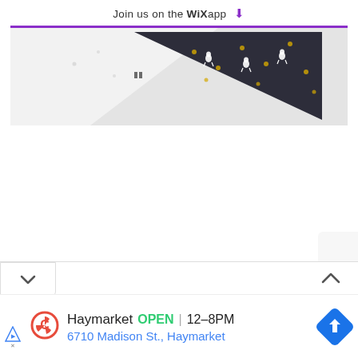Join us on the WiX app ↓
[Figure (photo): Product photo of a dark navy/charcoal bandana with small white cat/animal figures and gold dots pattern, folded diagonally on a light grey background]
Haymarket  OPEN | 12–8PM
6710 Madison St., Haymarket